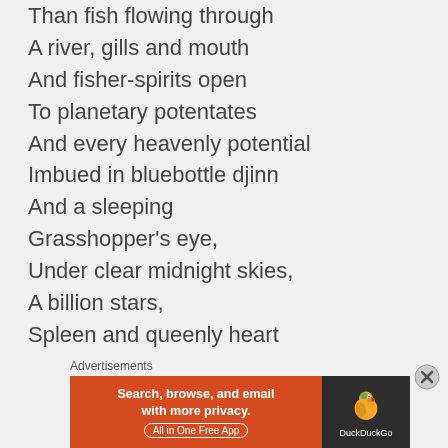Than fish flowing through
A river, gills and mouth
And fisher-spirits open
To planetary potentates
And every heavenly potential
Imbued in bluebottle djinn
And a sleeping
Grasshopper's eye,
Under clear midnight skies,
A billion stars,
Spleen and queenly heart
[Figure (other): DuckDuckGo advertisement banner: orange section with text 'Search, browse, and email with more privacy. All in One Free App' and dark section with DuckDuckGo duck logo and brand name.]